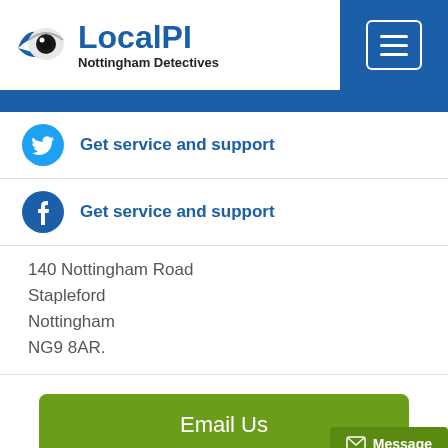LocalPI - Nottingham Detectives
Get service and support (Twitter)
Get service and support (Facebook)
140 Nottingham Road
Stapleford
Nottingham
NG9 8AR.
Email Us
Message
We're Open: